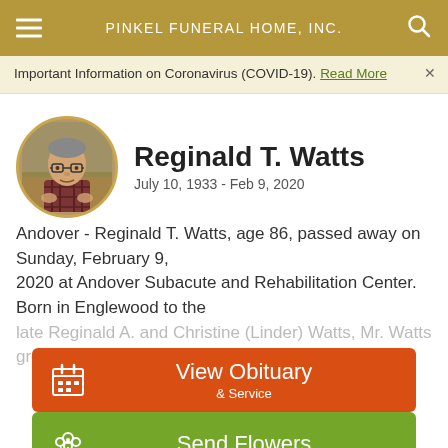PINKEL FUNERAL HOME, INC.
Important Information on Coronavirus (COVID-19). Read More
Reginald T. Watts
July 10, 1933 - Feb 9, 2020
[Figure (photo): Circular portrait photo of Reginald T. Watts, an elderly man wearing glasses and a plaid shirt]
Andover - Reginald T. Watts, age 86, passed away on Sunday, February 9, 2020 at Andover Subacute and Rehabilitation Center. Born in Englewood to the late Reginald A. and Christine (Linder) Watts, Mr. Watts grew
View Obituary & Service
Send Flowers